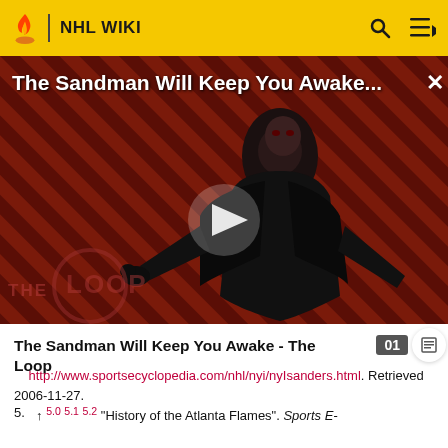NHL WIKI
[Figure (screenshot): Video thumbnail for 'The Sandman Will Keep You Awake...' showing a dark cloaked figure against a striped red/brown background, with The Loop logo visible, a play button overlay, and a close (X) button.]
The Sandman Will Keep You Awake - The Loop
http://www.sportsecyclopedia.com/nhl/nyi/nyIsanders.html. Retrieved 2006-11-27.
5. ↑ 5.0 5.1 5.2 "History of the Atlanta Flames". Sports E-